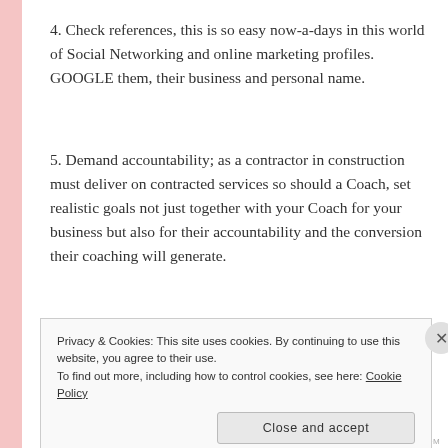4. Check references, this is so easy now-a-days in this world of Social Networking and online marketing profiles. GOOGLE them, their business and personal name.
5. Demand accountability; as a contractor in construction must deliver on contracted services so should a Coach, set realistic goals not just together with your Coach for your business but also for their accountability and the conversion their coaching will generate.
6. Look at their Shoes & Jewels! Yes, I think like this as I am
Privacy & Cookies: This site uses cookies. By continuing to use this website, you agree to their use.
To find out more, including how to control cookies, see here: Cookie Policy
Close and accept
WORDPRESS.COM